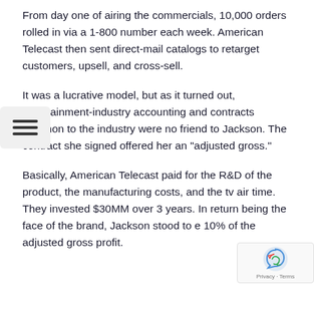From day one of airing the commercials, 10,000 orders rolled in via a 1-800 number each week. American Telecast then sent direct-mail catalogs to retarget customers, upsell, and cross-sell.
It was a lucrative model, but as it turned out, entertainment-industry accounting and contracts common to the industry were no friend to Jackson. The contract she signed offered her an "adjusted gross."
Basically, American Telecast paid for the R&D of the product, the manufacturing costs, and the tv air time. They invested $30MM over 3 years. In return being the face of the brand, Jackson stood to e 10% of the adjusted gross profit.